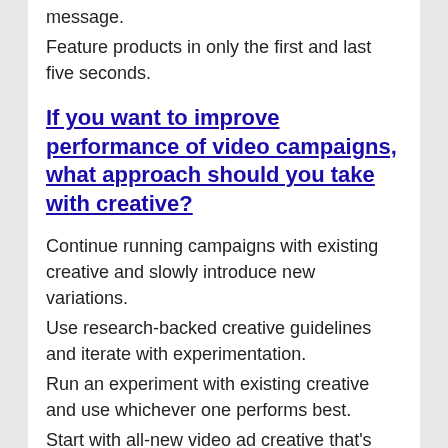message.
Feature products in only the first and last five seconds.
If you want to improve performance of video campaigns, what approach should you take with creative?
Continue running campaigns with existing creative and slowly introduce new variations.
Use research-backed creative guidelines and iterate with experimentation.
Run an experiment with existing creative and use whichever one performs best.
Start with all-new video ad creative that's already working well for other platforms